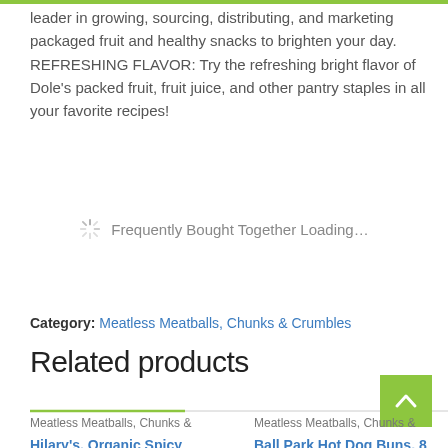leader in growing, sourcing, distributing, and marketing packaged fruit and healthy snacks to brighten your day. REFRESHING FLAVOR: Try the refreshing bright flavor of Dole's packed fruit, fruit juice, and other pantry staples in all your favorite recipes!
Frequently Bought Together Loading...
Category: Meatless Meatballs, Chunks & Crumbles
Related products
Meatless Meatballs, Chunks &
Hilary's, Organic Spicy
Meatless Meatballs, Chunks &
Ball Park Hot Dog Buns, 8